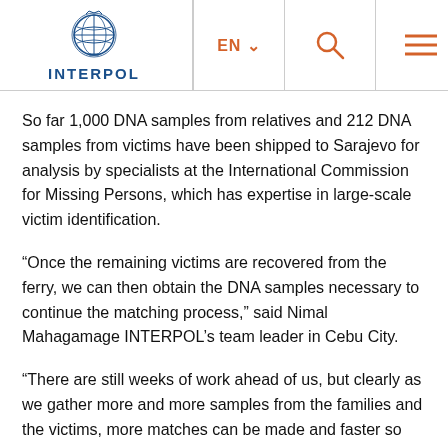INTERPOL — header with logo, EN language selector, search, and menu icons
So far 1,000 DNA samples from relatives and 212 DNA samples from victims have been shipped to Sarajevo for analysis by specialists at the International Commission for Missing Persons, which has expertise in large-scale victim identification.
“Once the remaining victims are recovered from the ferry, we can then obtain the DNA samples necessary to continue the matching process,” said Nimal Mahagamage INTERPOL’s team leader in Cebu City.
“There are still weeks of work ahead of us, but clearly as we gather more and more samples from the families and the victims, more matches can be made and faster so that the relatives can have their loved one returned to them as quickly as possible.”